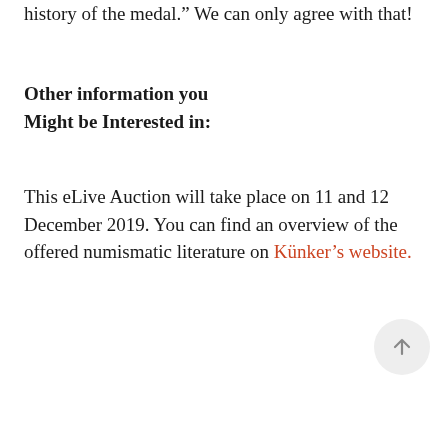history of the medal.” We can only agree with that!
Other information you Might be Interested in:
This eLive Auction will take place on 11 and 12 December 2019. You can find an overview of the offered numismatic literature on Künker’s website.